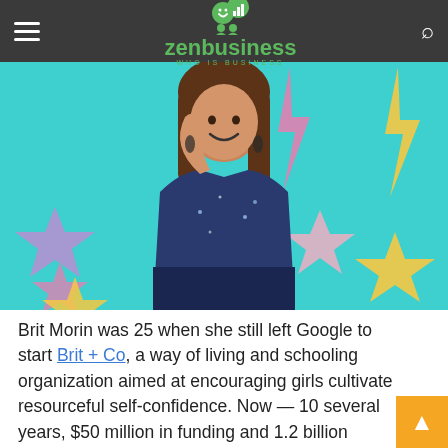zenbusiness — WHO IS BUSINESS
[Figure (photo): A smiling woman with long brown hair wearing a sparkly navy blue top, posed against a teal background with colorful stars and lightning bolt shapes in pink, purple, yellow, and pink colors.]
Brit Morin was 25 when she still left Google to start Brit + Co, a way of living and schooling organization aimed at encouraging girls cultivate resourceful self-confidence. Now — 10 several years, $50 million in funding and 1.2 billion pageviews afterwards — Morin's enthusiasm is